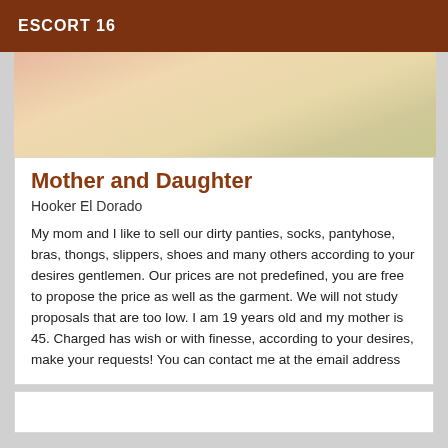ESCORT 16
[Figure (photo): Close-up photo showing skin tones and fabric in warm cream and pink hues]
Mother and Daughter
Hooker El Dorado
My mom and I like to sell our dirty panties, socks, pantyhose, bras, thongs, slippers, shoes and many others according to your desires gentlemen. Our prices are not predefined, you are free to propose the price as well as the garment. We will not study proposals that are too low. I am 19 years old and my mother is 45. Charged has wish or with finesse, according to your desires, make your requests! You can contact me at the email address